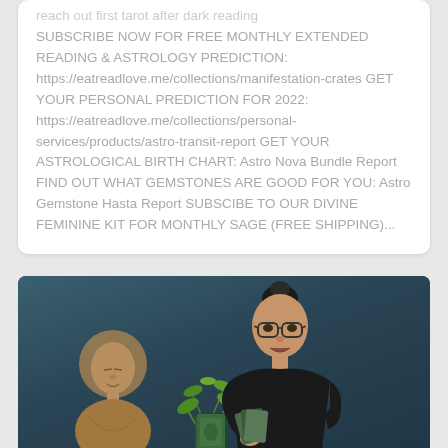reach out first tarot after dark reading SUBSCRIBE NOW FOR FREE MONTHLY EXTENDED READING & ASTROLOGY PREDICTION: https://eatreadlove.me/collections/manifestation-crates GET YOUR PERSONAL PREDICTION FOR 2022: https://eatreadlove.me/collections/personal-services/products/astro-transit-report GET YOUR ASTROLOGICAL BIRTH CHART: Astro Nova Bundle Report FIND OUT WHAT GEMSTONES ARE GOOD FOR YOU: Astro Gemstone Hasta Report SUBSCIBE TO OUR DIVINE FEMININE KIT FOR MONTHLY SAGE (FREE SHIPPING)...
[Figure (photo): Video thumbnail showing a person with glasses and dark hair in a bun wearing a black shirt, holding tarot cards, with a Buddha statue on the left and green plants in the foreground, against a teal/dark blue background.]